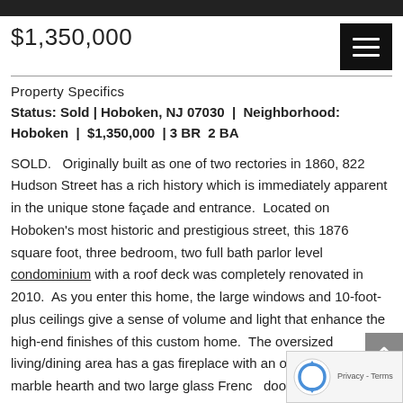$1,350,000
Property Specifics
Status: Sold | Hoboken, NJ 07030 | Neighborhood: Hoboken | $1,350,000 | 3 BR 2 BA
SOLD. Originally built as one of two rectories in 1860, 822 Hudson Street has a rich history which is immediately apparent in the unique stone façade and entrance. Located on Hoboken's most historic and prestigious street, this 1876 square foot, three bedroom, two full bath parlor level condominium with a roof deck was completely renovated in 2010. As you enter this home, the large windows and 10-foot-plus ceilings give a sense of volume and light that enhance the high-end finishes of this custom home. The oversized living/dining area has a gas fireplace with an oak mantle, a marble hearth and two large glass French doors that lead to the third bedroom or den. The outstanding features of this home include wide-plank white oak hardwood floors with a mahogany border, a custom chef's kitchen with 42"